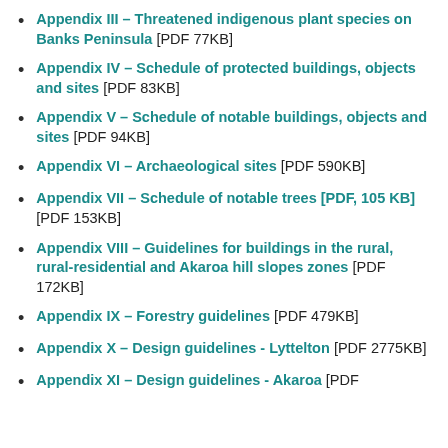Appendix III – Threatened indigenous plant species on Banks Peninsula [PDF 77KB]
Appendix IV – Schedule of protected buildings, objects and sites [PDF 83KB]
Appendix V – Schedule of notable buildings, objects and sites [PDF 94KB]
Appendix VI – Archaeological sites [PDF 590KB]
Appendix VII – Schedule of notable trees [PDF, 105 KB][PDF 153KB]
Appendix VIII – Guidelines for buildings in the rural, rural-residential and Akaroa hill slopes zones [PDF 172KB]
Appendix IX – Forestry guidelines [PDF 479KB]
Appendix X – Design guidelines - Lyttelton [PDF 2775KB]
Appendix XI – Design guidelines - Akaroa [PDF